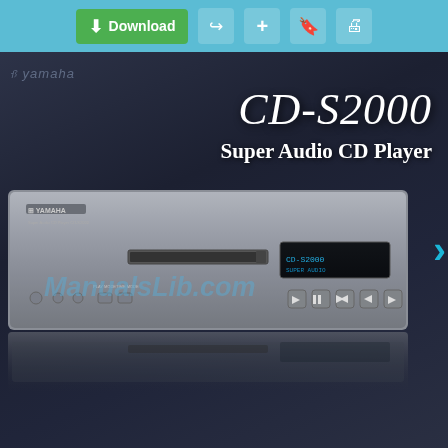[Figure (screenshot): Web browser toolbar with Download button (green), share, add, bookmark, and print icons on a light blue background]
[Figure (photo): Yamaha CD-S2000 Super Audio CD Player product photo on dark gradient background, with ManualsLib.com watermark overlay. The silver CD player unit is shown from the front with CD slot, display, and control buttons. A reflection appears below the unit.]
CD-S2000
Super Audio CD Player